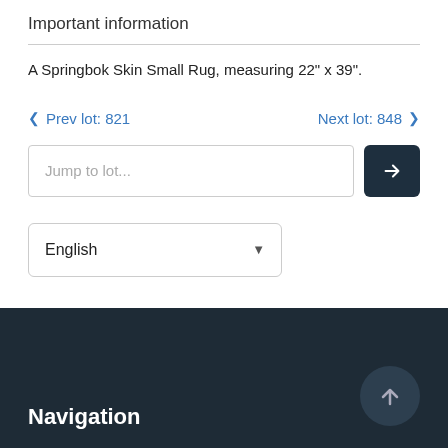Important information
A Springbok Skin Small Rug, measuring 22" x 39".
< Prev lot: 821   Next lot: 848 >
Jump to lot...
English
Navigation